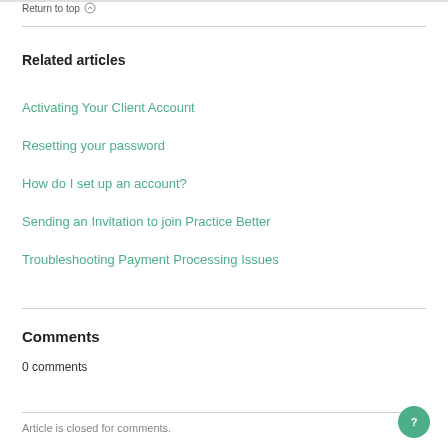Return to top ⊙
Related articles
Activating Your Client Account
Resetting your password
How do I set up an account?
Sending an Invitation to join Practice Better
Troubleshooting Payment Processing Issues
Comments
0 comments
Article is closed for comments.